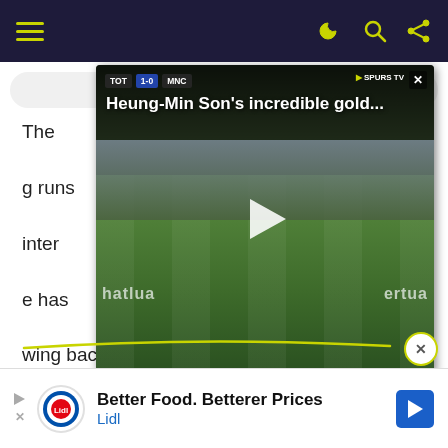Navigation bar with hamburger menu and icons
[Figure (screenshot): Embedded video player showing Heung-Min Son's incredible gold... with TOT 1-0 MNC scoreline and SPURS TV logo. Football match footage with play button overlay.]
The ... g runs ... inter ... e has ... wing back and to a left sided centre back for Graham Potter's team.
Brighton conceded just 44 goals in the Premier League this season, a figure only the top four and Wolves could better as the Seagulls secur...
[Figure (other): Lidl advertisement banner: Better Food. Betterer Prices / Lidl with navigation arrow logo]